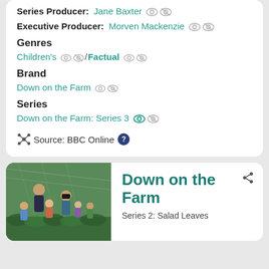Series Producer: Jane Baxter
Executive Producer: Morven Mackenzie
Genres
Children's / Factual
Brand
Down on the Farm
Series
Down on the Farm: Series 3
Source: BBC Online
[Figure (photo): Adults and children picking plants in a greenhouse/polytunnel, farm scene]
Down on the Farm
Series 2: Salad Leaves